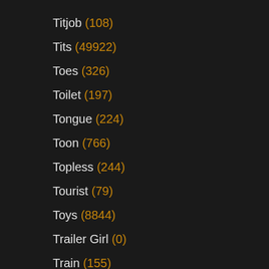Titjob (108)
Tits (49922)
Toes (326)
Toilet (197)
Tongue (224)
Toon (766)
Topless (244)
Tourist (79)
Toys (8844)
Trailer Girl (0)
Train (155)
Trampling (39)
Tranny (598)
Transsexual (60)
Transvestite (6)